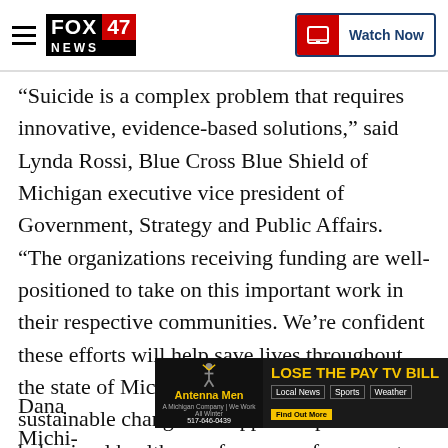FOX 47 NEWS — Watch Now
“Suicide is a complex problem that requires innovative, evidence-based solutions,” said Lynda Rossi, Blue Cross Blue Shield of Michigan executive vice president of Government, Strategy and Public Affairs. “The organizations receiving funding are well-positioned to take on this important work in their respective communities. We’re confident these efforts will help save lives throughout the state of Michigan and will create sustainable changes to support improved behavioral health care for some of our most vulnerable populations.”
[Figure (other): Advertisement banner for Antenna Men: LOSE THE PAY TV BILL. Local News, Sports, Weather. A Michigan Company | We Work All Winter. 517-646-0439. Find Out More.]
Dana [partially obscured] Michigan [partially obscured] health